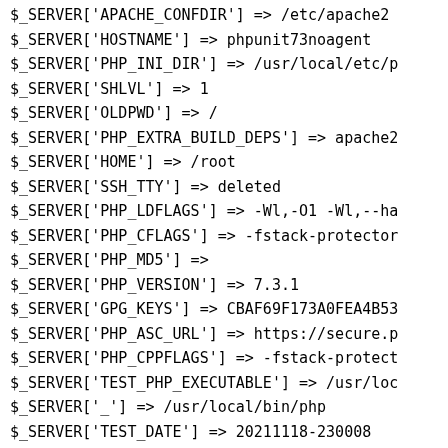$_SERVER['APACHE_CONFDIR'] => /etc/apache2
$_SERVER['HOSTNAME'] => phpunit73noagent
$_SERVER['PHP_INI_DIR'] => /usr/local/etc/p
$_SERVER['SHLVL'] => 1
$_SERVER['OLDPWD'] => /
$_SERVER['PHP_EXTRA_BUILD_DEPS'] => apache2
$_SERVER['HOME'] => /root
$_SERVER['SSH_TTY'] => deleted
$_SERVER['PHP_LDFLAGS'] => -Wl,-O1 -Wl,--ha
$_SERVER['PHP_CFLAGS'] => -fstack-protector
$_SERVER['PHP_MD5'] =>
$_SERVER['PHP_VERSION'] => 7.3.1
$_SERVER['GPG_KEYS'] => CBAF69F173A0FEA4B53
$_SERVER['PHP_ASC_URL'] => https://secure.p
$_SERVER['PHP_CPPFLAGS'] => -fstack-protect
$_SERVER['TEST_PHP_EXECUTABLE'] => /usr/loc
$_SERVER['_'] => /usr/local/bin/php
$_SERVER['TEST_DATE'] => 20211118-230008
$_SERVER['PHP_URL'] => https://secure.php.n